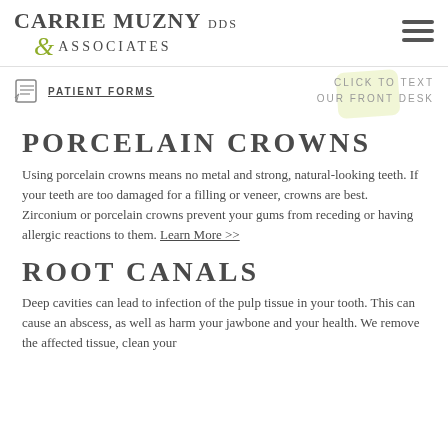CARRIE MUZNY DDS & ASSOCIATES
PATIENT FORMS
CLICK TO TEXT OUR FRONT DESK
PORCELAIN CROWNS
Using porcelain crowns means no metal and strong, natural-looking teeth. If your teeth are too damaged for a filling or veneer, crowns are best. Zirconium or porcelain crowns prevent your gums from receding or having allergic reactions to them. Learn More >>
ROOT CANALS
Deep cavities can lead to infection of the pulp tissue in your tooth. This can cause an abscess, as well as harm your jawbone and your health. We remove the affected tissue, clean your